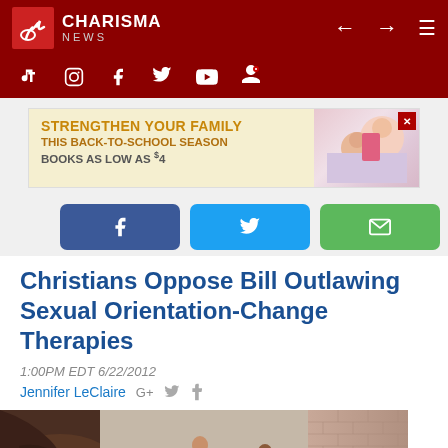CHARISMA NEWS
[Figure (screenshot): Charisma News website header with logo, navigation arrows, hamburger menu, and social media icons (TikTok, Instagram, Facebook, Twitter, YouTube, Pinterest) on dark red background]
[Figure (infographic): Advertisement banner: STRENGTHEN YOUR FAMILY THIS BACK-TO-SCHOOL SEASON BOOKS AS LOW AS $4, with image of children]
[Figure (infographic): Social share buttons: Facebook (blue), Twitter (cyan), Email (green)]
Christians Oppose Bill Outlawing Sexual Orientation-Change Therapies
1:00PM EDT 6/22/2012
Jennifer LeClaire
[Figure (photo): Outdoor photo showing people in an alleyway with brick walls]